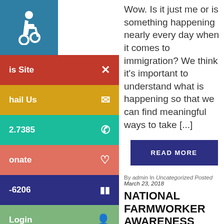[Figure (illustration): Wheelchair accessibility icon in white on teal/blue background]
is Site ✕
hail Us ✉
2.7385 ✆
onate ♡
-6206 ▮▮
Login 👤
Login 👥
Wow. Is it just me or is something happening nearly every day when it comes to immigration? We think it's important to understand what is happening so that we can find meaningful ways to take [...]
READ MORE
By admin In Uncategorized Posted March 23, 2018
NATIONAL FARMWORKER AWARENESS WEEK